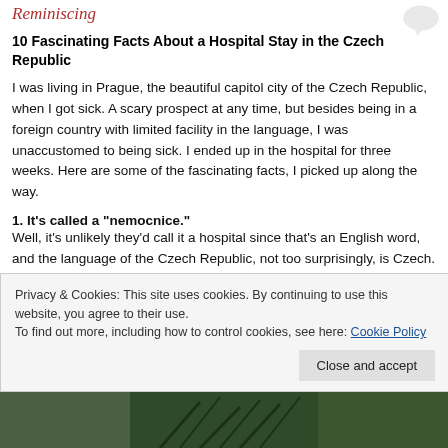Reminiscing
10 Fascinating Facts About a Hospital Stay in the Czech Republic
I was living in Prague, the beautiful capitol city of the Czech Republic, when I got sick. A scary prospect at any time, but besides being in a foreign country with limited facility in the language, I was unaccustomed to being sick. I ended up in the hospital for three weeks. Here are some of the fascinating facts, I picked up along the way.
1. It’s called a “nemocnice.” Well, it’s unlikely they’d call it a hospital since that’s an English word, and the language of the Czech Republic, not too surprisingly, is Czech. The particular hospital in which I spent the time [text continues]
Privacy & Cookies: This site uses cookies. By continuing to use this website, you agree to their use.
To find out more, including how to control cookies, see here: Cookie Policy
Close and accept
[Figure (photo): Bottom portion of page showing a dark green/teal colored background image, partially visible.]